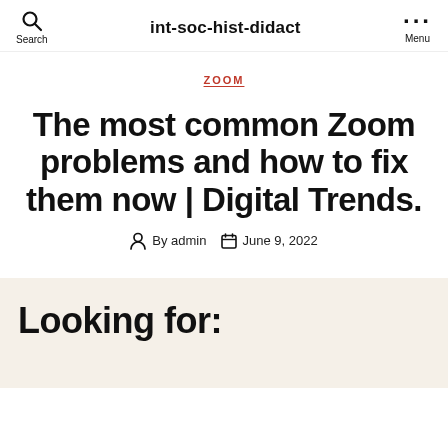int-soc-hist-didact
ZOOM
The most common Zoom problems and how to fix them now | Digital Trends.
By admin  June 9, 2022
Looking for: